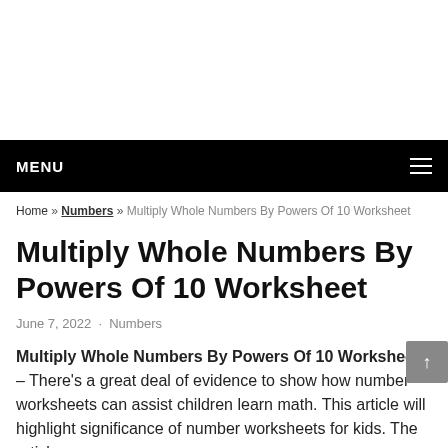MENU
Home » Numbers » Multiply Whole Numbers By Powers Of 10 Worksheet
Multiply Whole Numbers By Powers Of 10 Worksheet
June 7, 2022 · Numbers
Multiply Whole Numbers By Powers Of 10 Worksheet – There's a great deal of evidence to show how number worksheets can assist children learn math. This article will highlight significance of number worksheets for kids. The article